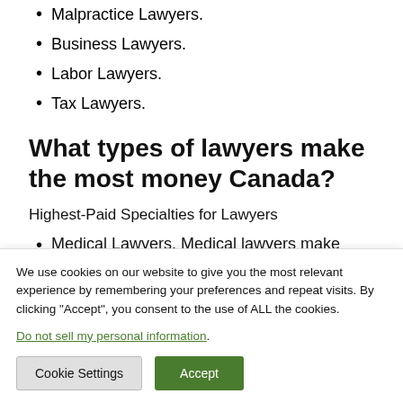Malpractice Lawyers.
Business Lawyers.
Labor Lawyers.
Tax Lawyers.
What types of lawyers make the most money Canada?
Highest-Paid Specialties for Lawyers
Medical Lawyers. Medical lawyers make
We use cookies on our website to give you the most relevant experience by remembering your preferences and repeat visits. By clicking “Accept”, you consent to the use of ALL the cookies.
Do not sell my personal information.